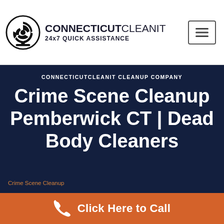[Figure (logo): Connecticut CleanIt logo with biohazard symbol and text 'CONNECTICUTCLEANIT 24x7 QUICK ASSISTANCE' with a hamburger menu button]
CONNECTICUTCLEANIT CLEANUP COMPANY
Crime Scene Cleanup Pemberwick CT | Dead Body Cleaners
Crime Scene Cleanup
Click Here to Call